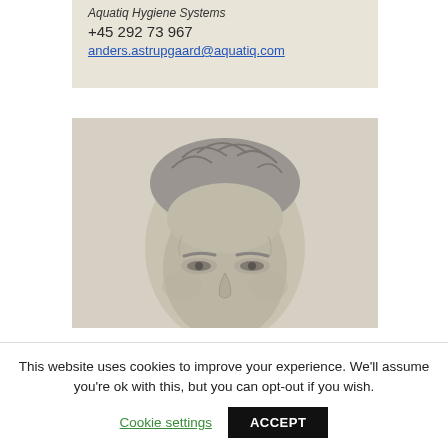Aquatiq Hygiene Systems
+45 292 73 967
anders.astrupgaard@aquatiq.com
[Figure (photo): Black and white portrait photo of a middle-aged man with grey hair, partially cropped showing head and upper face]
This website uses cookies to improve your experience. We'll assume you're ok with this, but you can opt-out if you wish.
Cookie settings
ACCEPT